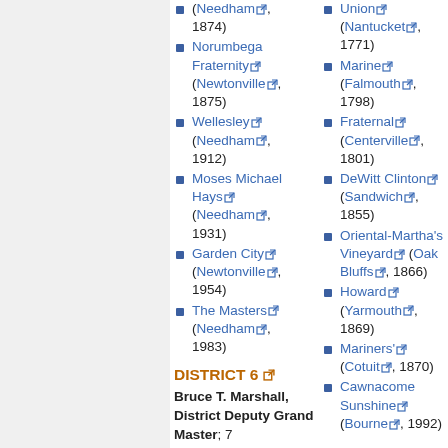(Needham, 1874)
Norumbega Fraternity (Newtonville, 1875)
Wellesley (Needham, 1912)
Moses Michael Hays (Needham, 1931)
Garden City (Newtonville, 1954)
The Masters (Needham, 1983)
Union (Nantucket, 1771)
Marine (Falmouth, 1798)
Fraternal (Centerville, 1801)
DeWitt Clinton (Sandwich, 1855)
Oriental-Martha's Vineyard (Oak Bluffs, 1866)
Howard (Yarmouth, 1869)
Mariners' (Cotuit, 1870)
Cawnacome Sunshine (Bourne, 1992)
DISTRICT 6
Bruce T. Marshall, District Deputy Grand Master; 7